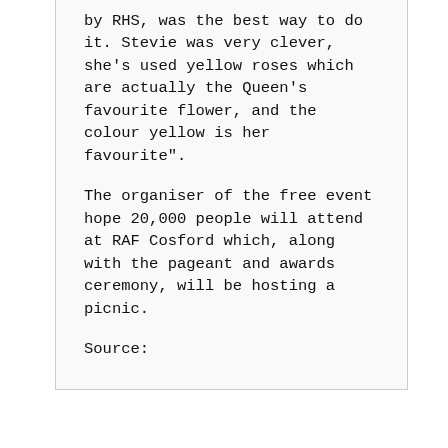by RHS, was the best way to do it. Stevie was very clever, she's used yellow roses which are actually the Queen's favourite flower, and the colour yellow is her favourite".
The organiser of the free event hope 20,000 people will attend at RAF Cosford which, along with the pageant and awards ceremony, will be hosting a picnic.
Source: